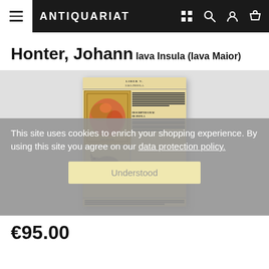ANTIQUARIAT
Honter, Johann
Iava Insula (Iava Maior)
[Figure (photo): Scanned antique book page showing a historical map of Java (Iava Maior) with decorative colored cartography and an illustration of an elephant, partially obscured by a cookie consent overlay. The page appears to be from an early printed book with Latin text columns and the woodcut-style map in an orange and red color scheme.]
This site uses cookies to enrich your shopping experience. By using this site you agree on our data protection policy.
Understood
€95.00